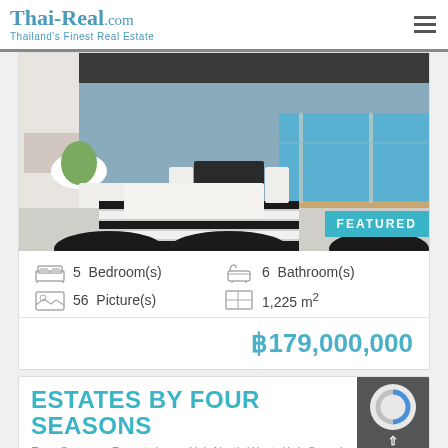Thai-Real.com — Thailand's Finest Real Estate
[Figure (photo): Luxury villa interior showing open-plan living room with black-and-white striped rug, white sofas, dining area, and infinity pool overlooking the sea]
5 Bedroom(s)   6 Bathroom(s)
56 Picture(s)   1,225 m²
฿179,000,000
ESTATES BY FOUR SEASONS
Four Seasons Resort, Laem Yai, North West, Koh Samui